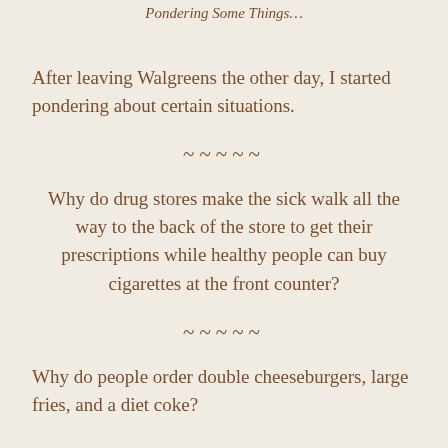Pondering Some Things…
After leaving Walgreens the other day, I started pondering about certain situations.
~~~~~
Why do drug stores make the sick walk all the way to the back of the store to get their prescriptions while healthy people can buy cigarettes at the front counter?
~~~~~
Why do people order double cheeseburgers, large fries, and a diet coke?